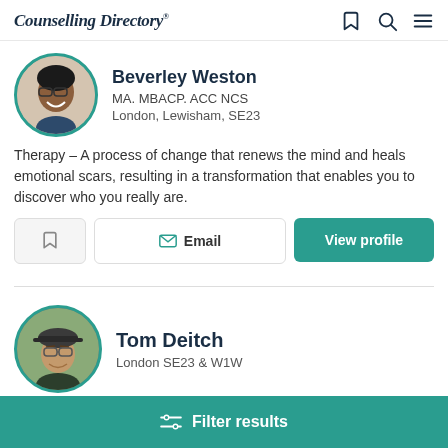Counselling Directory
Beverley Weston
MA. MBACP. ACC NCS
London, Lewisham, SE23
Therapy – A process of change that renews the mind and heals emotional scars, resulting in a transformation that enables you to discover who you really are.
Email | View profile
Tom Deitch
London SE23 & W1W
Filter results